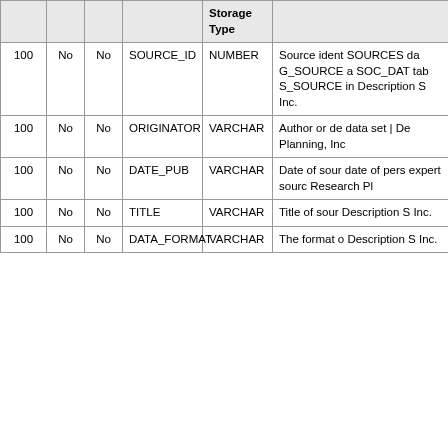|  |  |  |  | Storage Type |  |
| --- | --- | --- | --- | --- | --- |
| 100 | No | No | SOURCE_ID | NUMBER | Source ident SOURCES da G_SOURCE a SOC_DAT tab S_SOURCE in Description S Inc. |
| 100 | No | No | ORIGINATOR | VARCHAR | Author or de data set | De Planning, Inc |
| 100 | No | No | DATE_PUB | VARCHAR | Date of sour date of pers expert sourc Research Pl |
| 100 | No | No | TITLE | VARCHAR | Title of sour Description S Inc. |
| 100 | No | No | DATA_FORMAT | VARCHAR | The format o Description S Inc. |